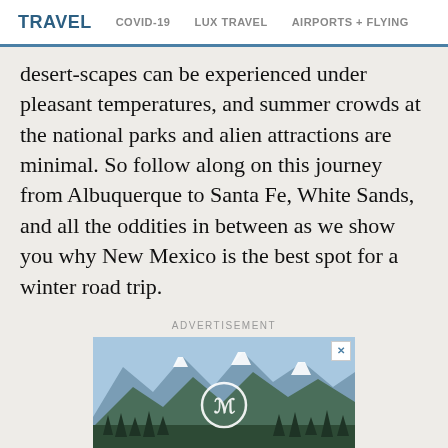TRAVEL   COVID-19   LUX TRAVEL   AIRPORTS + FLYING
desert-scapes can be experienced under pleasant temperatures, and summer crowds at the national parks and alien attractions are minimal. So follow along on this journey from Albuquerque to Santa Fe, White Sands, and all the oddities in between as we show you why New Mexico is the best spot for a winter road trip.
ADVERTISEMENT
[Figure (photo): Mountain landscape advertisement banner with snow-capped peaks, forest in foreground, and a circular logo/brand mark overlay in the center]